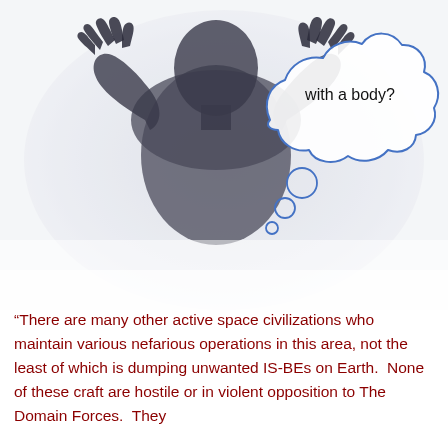[Figure (illustration): A silhouette of a person pressing their hands against a frosted glass surface, with a thought bubble above them containing the text 'with a body?'. The figure is seen from behind, arms raised and hands spread. A cartoon-style thought bubble is drawn in blue ink with small circles leading up to the main cloud shape.]
“There are many other active space civilizations who maintain various nefarious operations in this area, not the least of which is dumping unwanted IS-BEs on Earth.  None of these craft are hostile or in violent opposition to The Domain Forces.  They